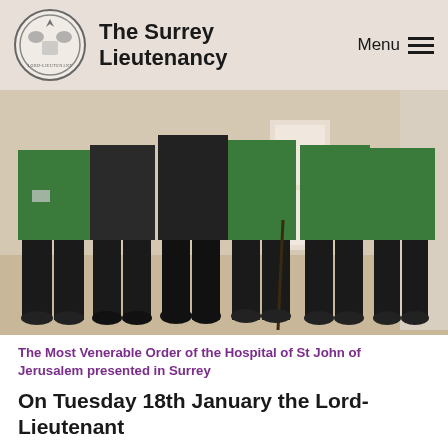The Surrey Lieutenancy  Menu
[Figure (photo): Group of people in green polo shirts and black trousers standing in a row indoors on a beige carpet, some holding a walking stick, photographed from the waist down]
The Most Venerable Order of the Hospital of St John of Jerusalem presented in Surrey
On Tuesday 18th January the Lord-Lieutenant